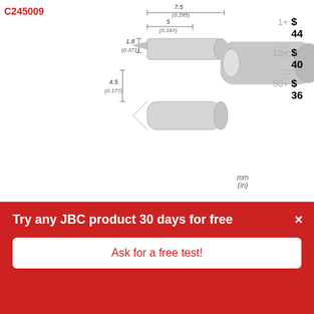C245009
[Figure (engineering-diagram): Soldering tip C245009 engineering drawing with dimensions: 1.8 (0.071), 5 (0.197), 7.5 (0.295), 4.5 (0.177) mm, with front and 3D views of the tip]
1+  $ 44
10+  $ 40
50+  $ 36
mm
(in)
Info
For drag soldering gullwing leads
C245966
[Figure (engineering-diagram): Soldering tip C245966 engineering drawing with dimension: 6 (0.236) mm, with front and 3D views of the tip]
1+  $ 32
10+  $ 29
50+  $ 27
Try any JBC product 30 days for free
Ask for a free test!